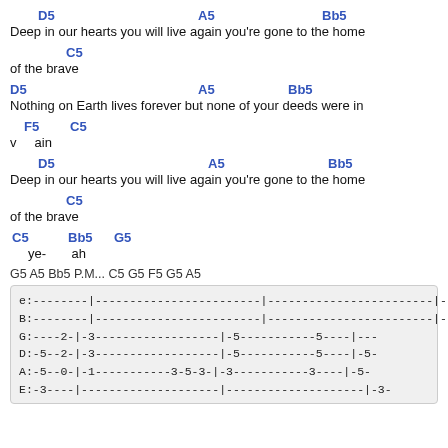D5 [chord] A5 [chord] Bb5 [chord]
Deep in our hearts you will live again you're gone to the home
C5 [chord]
of the brave
D5 [chord] A5 [chord] Bb5 [chord]
Nothing on Earth lives forever but none of your deeds were in
F5 [chord] C5 [chord]
v    ain
D5 [chord] A5 [chord] Bb5 [chord]
Deep in our hearts you will live again you're gone to the home
C5 [chord]
of the brave
C5 [chord] Bb5 [chord] G5 [chord]
     ye-        ah
G5 A5 Bb5 P.M... C5 G5 F5 G5 A5
| e:-------|-----------------------|-----------------------|--- |
| B:-------|-----------------------|-----------------------|--- |
| G:----2-|-3---------------------|‑5-----------5----|--- |
| D:-5--2-|-3---------------------|‑5-----------5----|‑5‑ |
| A:-5--0-|-1-----------3-5-3-|-3-----------3----|‑5‑ |
| E:-3----|‑---------------------|‑---------------------|‑3‑ |